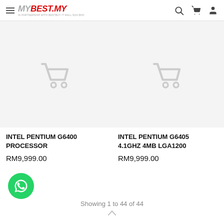MYBEST.MY — IN PARTNERSHIP WITH BESTBUY IT MALL SDN BHD
[Figure (screenshot): Product image placeholder for Intel Pentium G6400 Processor — grey background with faint shopping cart icon]
INTEL PENTIUM G6400 PROCESSOR
RM9,999.00
[Figure (screenshot): Product image placeholder for Intel Pentium G6405 4.1GHz 4MB LGA1200 — grey background with faint shopping cart icon]
INTEL PENTIUM G6405 4.1GHZ 4MB LGA1200
RM9,999.00
Showing 1 to 44 of 44